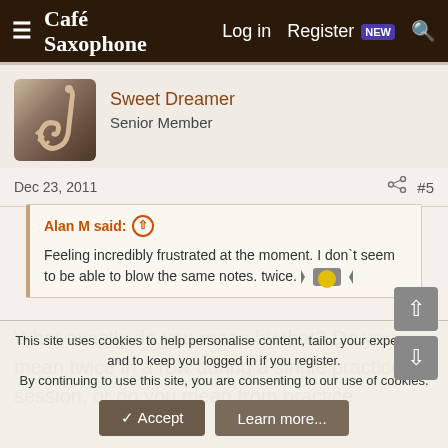Café Saxophone — Log in  Register NEW
Sweet Dreamer
Senior Member
Dec 23, 2011  #5
Alan M said: ↑
Feeling incredibly frustrated at the moment. I don't seem to be able to blow the same notes. twice. 🙁
What exactly do you mean by that? Do you mean twice in a row during a single practice session, or do you mean from practice
This site uses cookies to help personalise content, tailor your experience and to keep you logged in if you register.
By continuing to use this site, you are consenting to our use of cookies.
✓ Accept   Learn more...